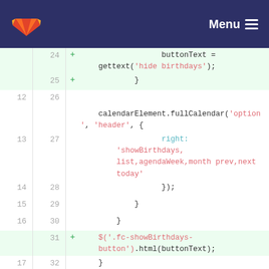GitLab — Menu
[Figure (screenshot): Code diff view showing JavaScript code with line numbers, added lines highlighted in green, displaying calendar-related JavaScript code including fullCalendar options and birthday-related function calls.]